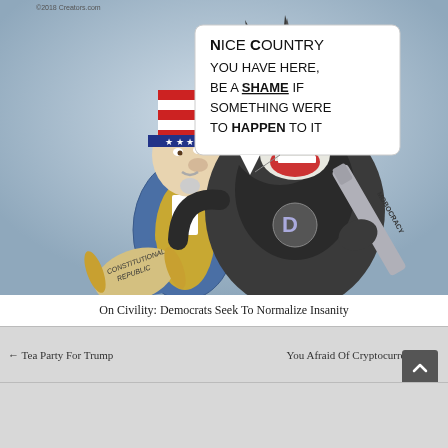[Figure (illustration): Political cartoon showing Uncle Sam with arm around a Democratic Party donkey wearing a hoodie. The donkey holds a baton labeled 'MOBOCRACY' and a scroll labeled 'CONSTITUTIONAL REPUBLIC'. Speech bubble reads: 'NICE COUNTRY YOU HAVE HERE, BE A SHAME IF SOMETHING WERE TO HAPPEN TO IT'. Watermark: ©2018 Creators.com]
On Civility: Democrats Seek To Normalize Insanity
← Tea Party For Trump
You Afraid Of Cryptocurrency? →